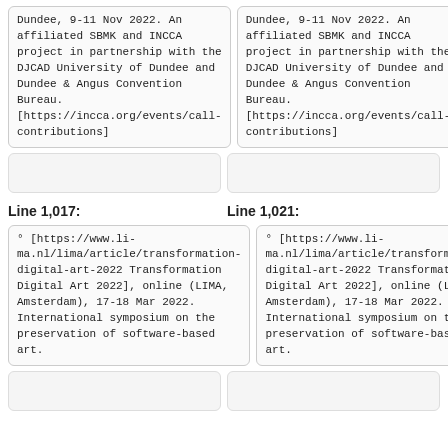Dundee, 9-11 Nov 2022. An affiliated SBMK and INCCA project in partnership with the DJCAD University of Dundee and Dundee & Angus Convention Bureau. [https://incca.org/events/call-contributions]
Dundee, 9-11 Nov 2022. An affiliated SBMK and INCCA project in partnership with the DJCAD University of Dundee and Dundee & Angus Convention Bureau. [https://incca.org/events/call-contributions]
Line 1,017:
Line 1,021:
° [https://www.li-ma.nl/lima/article/transformation-digital-art-2022 Transformation Digital Art 2022], online (LIMA, Amsterdam), 17-18 Mar 2022. International symposium on the preservation of software-based art.
° [https://www.li-ma.nl/lima/article/transformation-digital-art-2022 Transformation Digital Art 2022], online (LIMA, Amsterdam), 17-18 Mar 2022. International symposium on the preservation of software-based art.